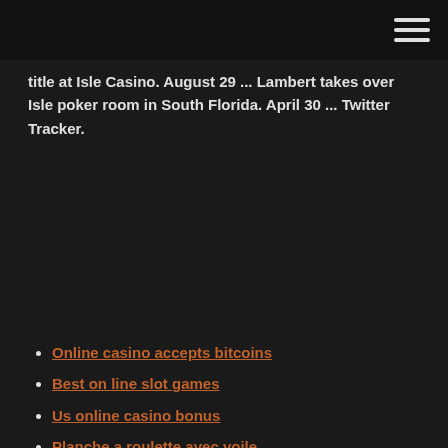title at Isle Casino. August 29 … Lambert takes over Isle poker room in South Florida. April 30 … Twitter Tracker.
Online casino accepts bitcoins
Best on line slot games
Us online casino bonus
Planche a roulette avec voile
Gaming club casino no deposit bonus
Black diamond casino free coins